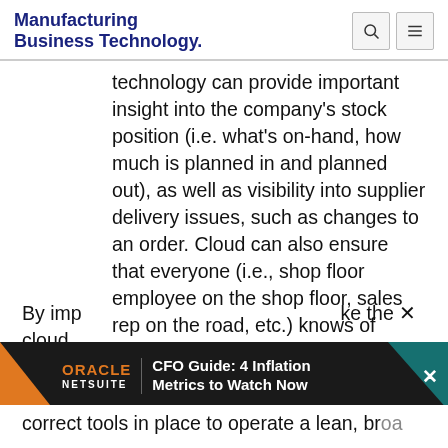Manufacturing Business Technology
technology can provide important insight into the company’s stock position (i.e. what’s on-hand, how much is planned in and planned out), as well as visibility into supplier delivery issues, such as changes to an order. Cloud can also ensure that everyone (i.e., shop floor employee on the shop floor, sales rep on the road, etc.) knows of changes at the same time.
There are many different moving parts in the manufacturing industry and it can be difficult to keep track of activity and keep customers happy.
By imp…ke the cloud,…
[Figure (screenshot): Oracle NetSuite advertisement banner: CFO Guide: 4 Inflation Metrics to Watch Now]
correct tools in place to operate a lean, br…